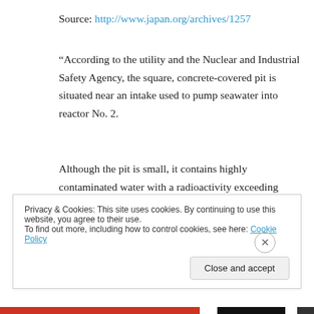Source: http://www.japan.org/archives/1257
“According to the utility and the Nuclear and Industrial Safety Agency, the square, concrete-covered pit is situated near an intake used to pump seawater into reactor No. 2.
Although the pit is small, it contains highly contaminated water with a radioactivity exceeding 1,000 millisieverts per hour that is leaking into the ocean from a 20-cm crack,
Privacy & Cookies: This site uses cookies. By continuing to use this website, you agree to their use.
To find out more, including how to control cookies, see here: Cookie Policy